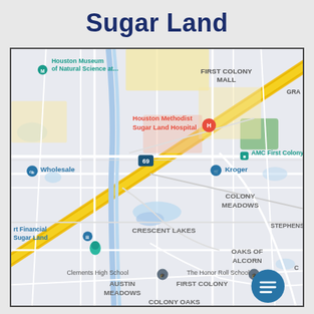Sugar Land
[Figure (map): Google Maps screenshot showing Sugar Land, TX area with landmarks including Houston Museum of Natural Science, Houston Methodist Sugar Land Hospital, AMC First Colony 24, Kroger, First Colony Mall, Colony Meadows, Crescent Lakes, Oaks of Alcorn, Stephens, Austin Meadows, First Colony, Colony Oaks, Clements High School, The Honor Roll School, Wholesale club, and Fort Financial Sugar Land. A diagonal yellow highway (US-69) crosses the map. A blue chat button appears in the bottom right.]